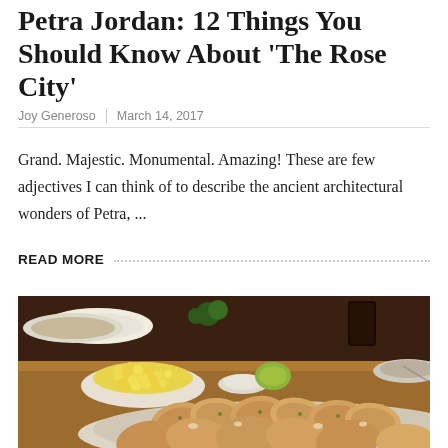Petra Jordan: 12 Things You Should Know About 'The Rose City'
Joy Generoso | March 14, 2017
Grand. Majestic. Monumental. Amazing! These are few adjectives I can think of to describe the ancient architectural wonders of Petra, ...
READ MORE
[Figure (photo): Close-up food photograph showing a large plate of cooked shrimp in the foreground, a white bowl of corn/mac and cheese to the left, a small bowl with dipping sauce, and various other dishes on a wooden restaurant table. Other diners' dishes and drinks visible in the background.]